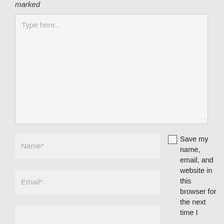marked
[Figure (screenshot): A web form textarea with placeholder text 'Type here..' and a resize handle at bottom right]
[Figure (screenshot): A web form input field with placeholder text 'Name*']
[Figure (screenshot): A web form input field with placeholder text 'Email*']
[Figure (screenshot): A partially visible web form input field at the bottom]
Save my name, email, and website in this browser for the next time I